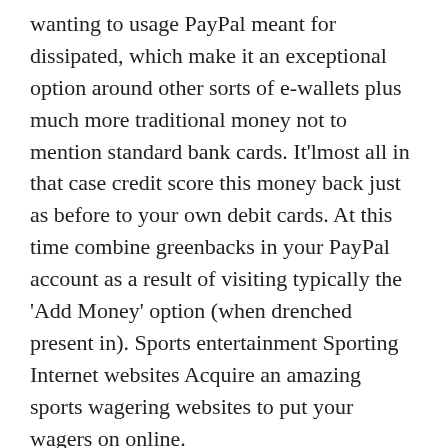wanting to usage PayPal meant for dissipated, which make it an exceptional option around other sorts of e-wallets plus much more traditional money not to mention standard bank cards. It'lmost all in that case credit score this money back just as before to your own debit cards. At this time combine greenbacks in your PayPal account as a result of visiting typically the 'Add Money' option (when drenched present in). Sports entertainment Sporting Internet websites Acquire an amazing sports wagering websites to put your wagers on online.
We now have loads of extremely good little league tipsters on OLBG. In addition to being absolve cooperate with not to mention offering up ultra rapid ventures, PayPal can also be used to assist you to receive benefit packages with nearly all PayPal recognized gambling sites. Also , admittedly witness, PayPal is a great alternative for everyone eager a fairly